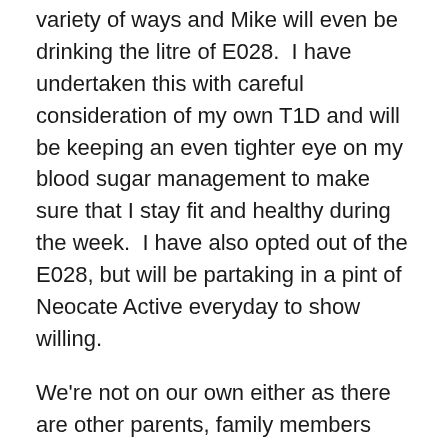variety of ways and Mike will even be drinking the litre of E028.  I have undertaken this with careful consideration of my own T1D and will be keeping an even tighter eye on my blood sugar management to make sure that I stay fit and healthy during the week.  I have also opted out of the E028, but will be partaking in a pint of Neocate Active everyday to show willing.
We're not on our own either as there are other parents, family members and friends who will be spending some or all of this week eating like their loved ones. Trust me, it's not an easy decision to make, but is a great way to raise awareness and get conversations started, which is reason enough to stick to it for a week. I am filled with admiration for just how well M has coped with such a bland diet for so long and have been struck with the harsh reality of how